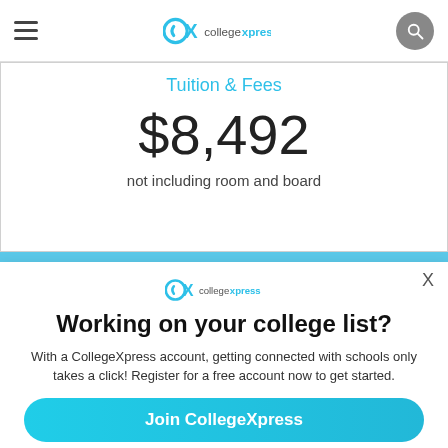CollegeXpress navigation bar with hamburger menu and search button
Tuition & Fees
$8,492
not including room and board
[Figure (logo): CollegeXpress logo (cx icon + collegexpress text in cyan)]
Working on your college list?
With a CollegeXpress account, getting connected with schools only takes a click! Register for a free account now to get started.
Join CollegeXpress